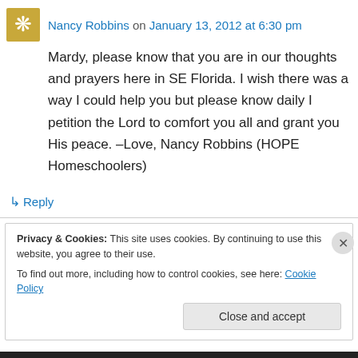Nancy Robbins on January 13, 2012 at 6:30 pm
Mardy, please know that you are in our thoughts and prayers here in SE Florida. I wish there was a way I could help you but please know daily I petition the Lord to comfort you all and grant you His peace. –Love, Nancy Robbins (HOPE Homeschoolers)
↳ Reply
Privacy & Cookies: This site uses cookies. By continuing to use this website, you agree to their use. To find out more, including how to control cookies, see here: Cookie Policy
Close and accept